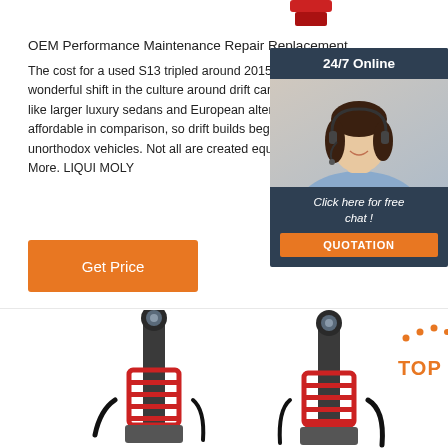[Figure (photo): Partial view of red coilover suspension parts cropped at top]
OEM Performance Maintenance Repair Replacement ...
The cost for a used S13 tripled around 2015, which wonderful shift in the culture around drift cars. Less like larger luxury sedans and European alternatives affordable in comparison, so drift builds began to in unorthodox vehicles. Not all are created equally, ho More. LIQUI MOLY
[Figure (photo): Customer service representative with headset, 24/7 Online chat widget with blue-gray background, Click here for free chat text, and orange QUOTATION button]
[Figure (photo): Orange Get Price button]
[Figure (photo): Two coilover suspension parts with red springs at bottom, black top mounts, and a TOP badge with orange dots and text in bottom right corner]